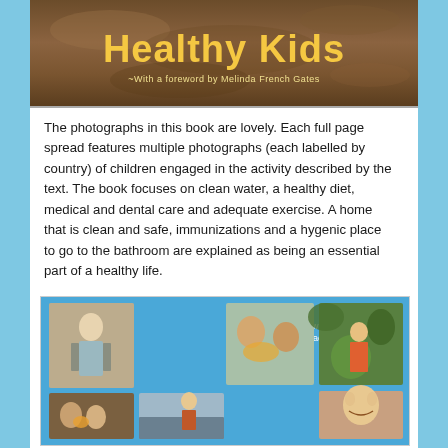[Figure (photo): Book cover of 'Healthy Kids' with yellow bold title text on a brown/earth-toned background, subtitle 'With a foreword by Melinda French Gates']
The photographs in this book are lovely. Each full page spread features multiple photographs (each labelled by country) of children engaged in the activity described by the text. The book focuses on clean water, a healthy diet, medical and dental care and adequate exercise. A home that is clean and safe, immunizations and a hygenic place to go to the bathroom are explained as being an essential part of a healthy life.
[Figure (photo): Collage image from the Healthy Kids book showing multiple children from different countries on a blue background. Text reads 'Healthy kids grow up strong, active, and ready to go!']